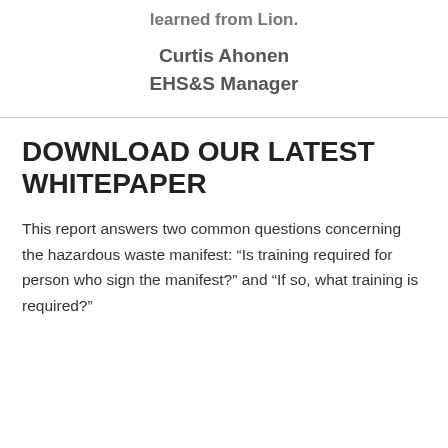Curtis Ahonen
EHS&S Manager
DOWNLOAD OUR LATEST WHITEPAPER
This report answers two common questions concerning the hazardous waste manifest: “Is training required for person who sign the manifest?” and “If so, what training is required?”